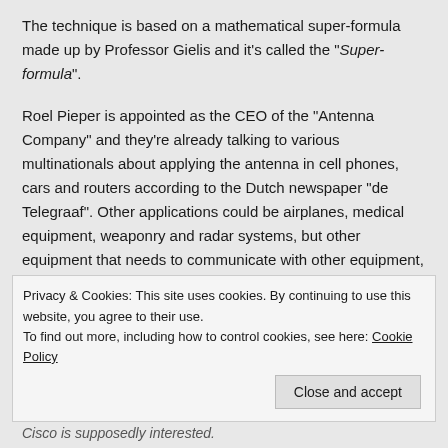The technique is based on a mathematical super-formula made up by Professor Gielis and it's called the "Super-formula".
Roel Pieper is appointed as the CEO of the "Antenna Company" and they're already talking to various multinationals about applying the antenna in cell phones, cars and routers according to the Dutch newspaper "de Telegraaf". Other applications could be airplanes, medical equipment, weaponry and radar systems, but other equipment that needs to communicate with other equipment, such as central heating thermostats.
World hit
Antenna Company "promises to be my most successful company
Privacy & Cookies: This site uses cookies. By continuing to use this website, you agree to their use.
To find out more, including how to control cookies, see here: Cookie Policy
Close and accept
Cisco is supposedly interested.